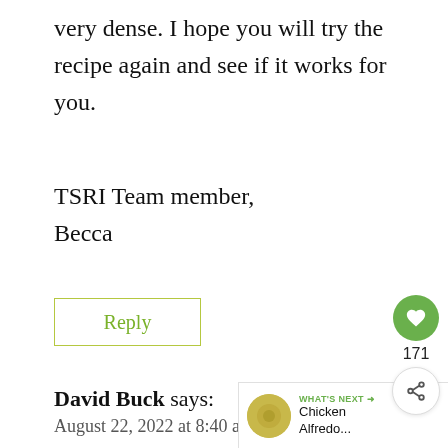very dense. I hope you will try the recipe again and see if it works for you.
TSRI Team member,
Becca
Reply
David Buck says:
August 22, 2022 at 8:40 am
Just a thought maybe sifting th… might make a difference.